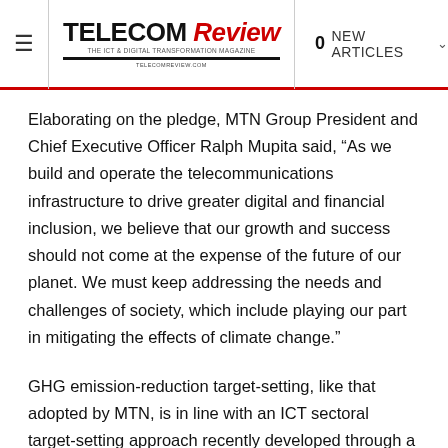TELECOM Review | 0 NEW ARTICLES
Elaborating on the pledge, MTN Group President and Chief Executive Officer Ralph Mupita said, “As we build and operate the telecommunications infrastructure to drive greater digital and financial inclusion, we believe that our growth and success should not come at the expense of the future of our planet. We must keep addressing the needs and challenges of society, which include playing our part in mitigating the effects of climate change.”
GHG emission-reduction target-setting, like that adopted by MTN, is in line with an ICT sectoral target-setting approach recently developed through a collaboration between the Global Enabling Sustainability Initiative